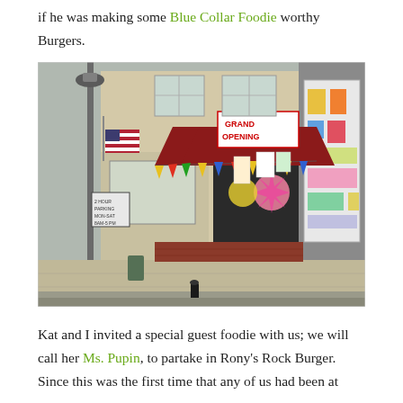if he was making some Blue Collar Foodie worthy Burgers.
[Figure (photo): Exterior storefront with a Grand Opening banner/sign, red awning, colorful bunting/triangular flags, an American flag, a lamp post, a chalkboard sandwich board sign, and decorations in the windows. Neighboring storefront visible on right with posters.]
Kat and I invited a special guest foodie with us; we will call her Ms. Pupin, to partake in Rony's Rock Burger. Since this was the first time that any of us had been at...